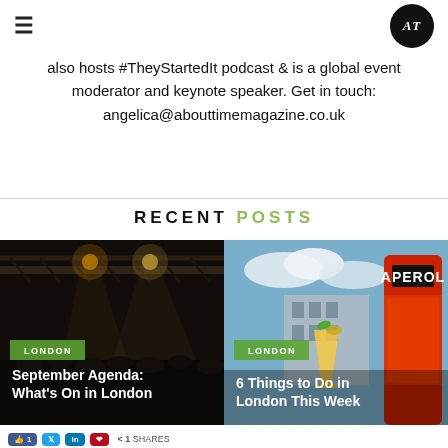≡  AT (logo)
also hosts #TheyStartedIt podcast & is a global event moderator and keynote speaker. Get in touch: angelica@abouttimemagazine.co.uk
RECENT POSTS
[Figure (photo): Indoor venue with steel truss ceiling and stage lights, crowded event, dark ambiance. Tag: LONDON. Title: September Agenda: What's On in London]
[Figure (photo): Aperol bottle and cocktail glass outdoors near a city building. Tag: LONDON. Title: 6 Things to Do in London This Week]
Share 1 SHARES (Facebook, Twitter, LinkedIn, Pinterest social share buttons)